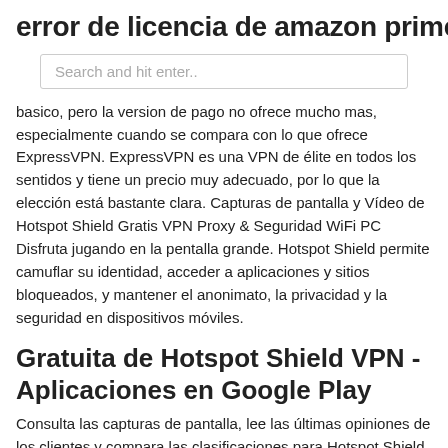error de licencia de amazon prime
Search and hit enter..
basico, pero la version de pago no ofrece mucho mas, especialmente cuando se compara con lo que ofrece ExpressVPN. ExpressVPN es una VPN de élite en todos los sentidos y tiene un precio muy adecuado, por lo que la elección está bastante clara. Capturas de pantalla y Vídeo de Hotspot Shield Gratis VPN Proxy & Seguridad WiFi PC Disfruta jugando en la pentalla grande. Hotspot Shield permite camuflar su identidad, acceder a aplicaciones y sitios bloqueados, y mantener el anonimato, la privacidad y la seguridad en dispositivos móviles.
Gratuita de Hotspot Shield VPN - Aplicaciones en Google Play
Consulta las capturas de pantalla, lee las últimas opiniones de los clientes y compara las clasificaciones para Hotspot Shield Free VPN. Obtén acceso VPN ilimitado a una de las aplicaciones de acceso, privacidad y seguridad más fiables del mundo. Con Hotspot Shield VPN obtendrás una navegación...